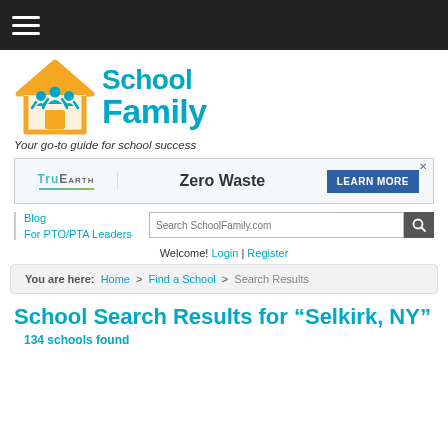[Figure (logo): SchoolFamily.com website header with house logo and tagline 'Your go-to guide for school success']
[Figure (infographic): TruEarth Zero Waste advertisement banner with 'LEARN MORE' button]
Blog | For PTO/PTA Leaders
Search SchoolFamily.com
Welcome! Login | Register
You are here: Home > Find a School > Search Results
School Search Results for “Selkirk, NY”
134 schools found